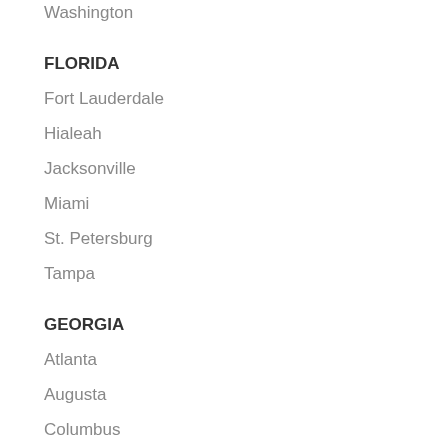Washington
FLORIDA
Fort Lauderdale
Hialeah
Jacksonville
Miami
St. Petersburg
Tampa
GEORGIA
Atlanta
Augusta
Columbus
Savannah
HAWAII